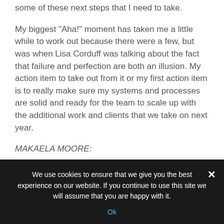some of these next steps that I need to take.
My biggest “Aha!” moment has taken me a little while to work out because there were a few, but was when Lisa Corduff was talking about the fact that failure and perfection are both an illusion. My action item to take out from it or my first action item is to really make sure my systems and processes are solid and ready for the team to scale up with the additional work and clients that we take on next year.
MAKAELA MOORE:
I’m Makaela Moore from Deliberately Transformed and The Midlife Awakening Podcast and makaelamoore.com. I went to Amazon Handmade Women in Business Retreat that really
We use cookies to ensure that we give you the best experience on our website. If you continue to use this site we will assume that you are happy with it.
Ok